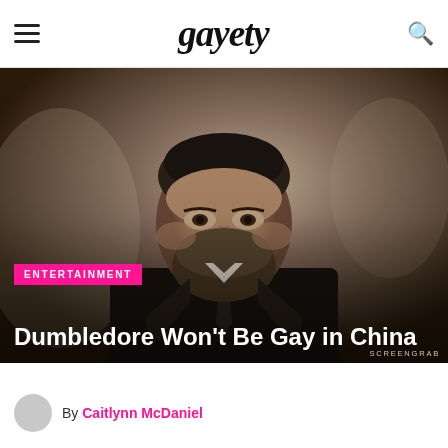gayety
[Figure (photo): A bearded man in a dark suit and tie, looking serious, in a dimly lit room. This appears to be a screengrab from a film or TV show depicting Dumbledore.]
ENTERTAINMENT
Dumbledore Won't Be Gay in China
SCREENGRAB
By Caitlynn McDaniel